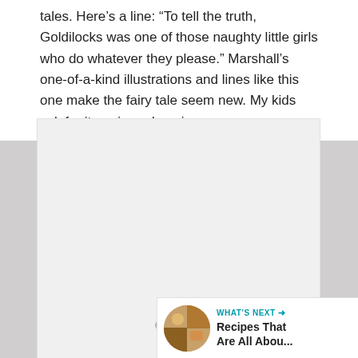tales.  Here's a line: “To tell the truth, Goldilocks was one of those naughty little girls who do whatever they please.”  Marshall’s one-of-a-kind illustrations and lines like this one make the fairy tale seem new. My kids ask for it again and again.
[Figure (other): A light gray empty image placeholder box with three gray dots at the bottom center and a share button (circular white button with share icon) at the bottom right.]
WHAT’S NEXT → Recipes That Are All Abou...